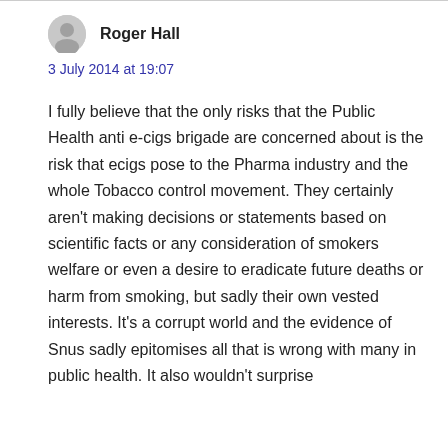Roger Hall
3 July 2014 at 19:07
I fully believe that the only risks that the Public Health anti e-cigs brigade are concerned about is the risk that ecigs pose to the Pharma industry and the whole Tobacco control movement. They certainly aren't making decisions or statements based on scientific facts or any consideration of smokers welfare or even a desire to eradicate future deaths or harm from smoking, but sadly their own vested interests. It's a corrupt world and the evidence of Snus sadly epitomises all that is wrong with many in public health. It also wouldn't surprise me if tobacco companies in the past used large sums of